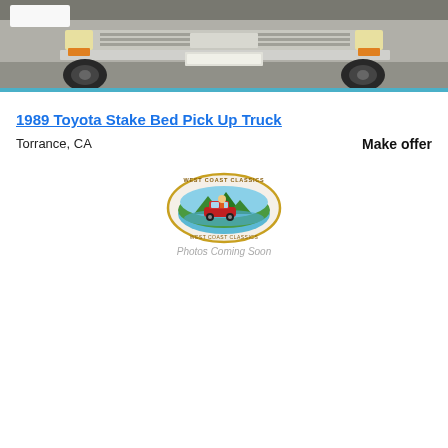[Figure (photo): Top portion of a vintage Toyota stake bed pickup truck front end, photographed in a garage. The truck appears silver/chrome colored. Only the front grille, bumper, and wheels are visible in this cropped view.]
1989 Toyota Stake Bed Pick Up Truck
Torrance, CA
Make offer
[Figure (logo): West Coast Classics dealer logo — an oval emblem showing a cartoon figure driving a red classic car, with mountains and water in the background, and text reading 'WEST COAST CLASSICS' around the top. Below the logo it reads 'Photos Coming Soon' in light gray italic text.]